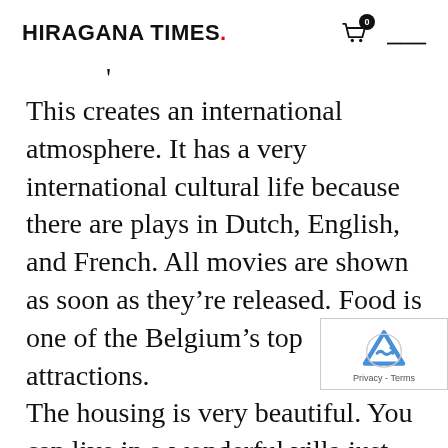HIRAGANA TIMES.
This creates an international atmosphere. It has a very international cultural life because there are plays in Dutch, English, and French. All movies are shown as soon as they're released. Food is one of the Belgium's top attractions.
The housing is very beautiful. You can live in a wonderful villa just outside Brussels and commute every day. It's a small country so we can go to Germany